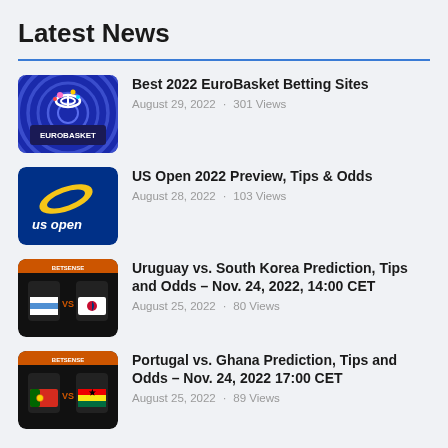Latest News
Best 2022 EuroBasket Betting Sites
August 29, 2022 · 301 Views
US Open 2022 Preview, Tips & Odds
August 28, 2022 · 103 Views
Uruguay vs. South Korea Prediction, Tips and Odds – Nov. 24, 2022, 14:00 CET
August 25, 2022 · 80 Views
Portugal vs. Ghana Prediction, Tips and Odds – Nov. 24, 2022 17:00 CET
August 25, 2022 · 89 Views